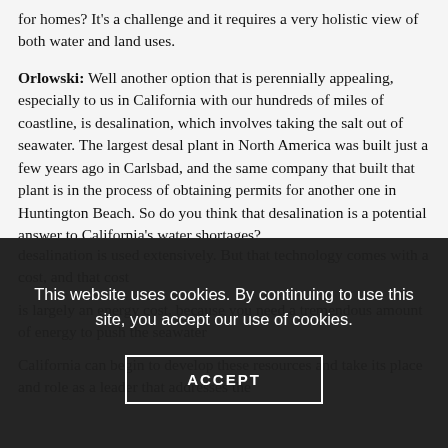for homes? It’s a challenge and it requires a very holistic view of both water and land uses.
Orlowski: Well another option that is perennially appealing, especially to us in California with our hundreds of miles of coastline, is desalination, which involves taking the salt out of seawater. The largest desal plant in North America was built just a few years ago in Carlsbad, and the same company that built that plant is in the process of obtaining permits for another one in Huntington Beach. So do you think that desalination is a potential answer to California’s water shortages?
Feldman: I think desalination has to be thought of as a part of the mix. And in some areas of the world where you have really few other choices, the Middle East, Israel, even Singapore, certainly
This website uses cookies. By continuing to use this site, you accept our use of cookies.